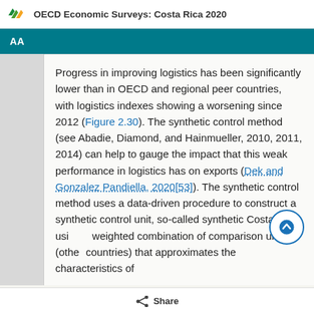OECD Economic Surveys: Costa Rica 2020
AA
Progress in improving logistics has been significantly lower than in OECD and regional peer countries, with logistics indexes showing a worsening since 2012 (Figure 2.30). The synthetic control method (see Abadie, Diamond, and Hainmueller, 2010, 2011, 2014) can help to gauge the impact that this weak performance in logistics has on exports (Dek and Gonzalez Pandiella, 2020[53]). The synthetic control method uses a data-driven procedure to construct a synthetic control unit, so-called synthetic Costa Rica, using a weighted combination of comparison units (other countries) that approximates the characteristics of
Share